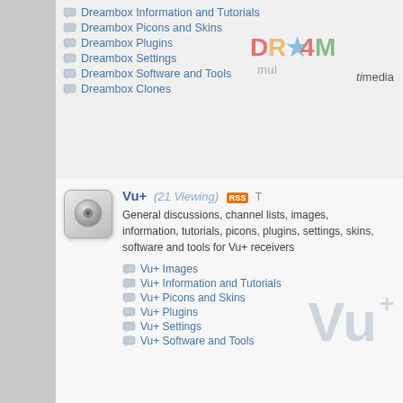Dreambox Information and Tutorials
Dreambox Picons and Skins
Dreambox Plugins
Dreambox Settings
Dreambox Software and Tools
Dreambox Clones
Vu+ (21 Viewing)
General discussions, channel lists, images, information, tutorials, picons, plugins, settings, skins, software and tools for Vu+ receivers
Vu+ Images
Vu+ Information and Tutorials
Vu+ Picons and Skins
Vu+ Plugins
Vu+ Settings
Vu+ Software and Tools
Satellite Receivers A to Z (127 Viewing)
[#]
[A]
[B]
[C]
[D]
[E]
[F]
[G]
[H]
[I]
[J]
[K]
[L]